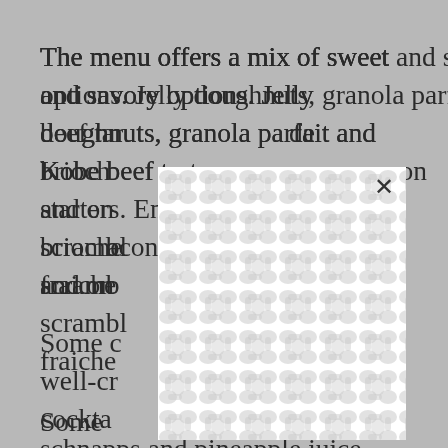The menu offers a mix of sweet and savory options. Jelly doughnuts, granola parfait and Kobe beef tartare serve as starters. Entrées include brioche [obscured] bacon and on[obscured]d scrambl[obscured]e fraiche[obscured]
[Figure (other): A white popup/modal overlay with a repeating grey rounded dumbbell/connector pattern and an X close button in the upper right, partially obscuring the text behind it.]
Some d[obscured]the well-cr[obscured]he cockta[obscured]n schnapps and pineapple juice and a pom royale with blueberry pomegranate juice and blueberries. A classic bloody mary is joined by four twists including an Old Bay and bacon mary,